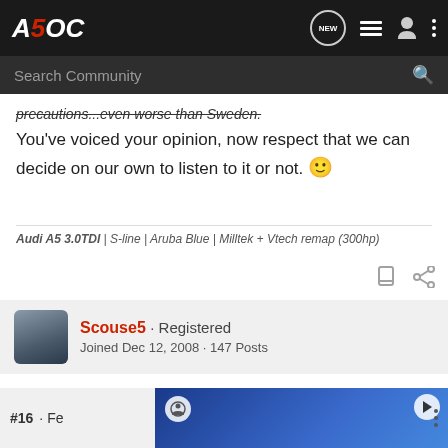[Figure (screenshot): A5OC forum website navigation bar with logo, NEW button, list icon, user icon, and dots menu]
[Figure (screenshot): Search Community search bar on dark background]
precautions...even worse than Sweden.
You've voiced your opinion, now respect that we can decide on our own to listen to it or not. 🙂
Audi A5 3.0TDI | S-line | Aruba Blue | Milltek + Vtech remap (300hp)
Scouse5 · Registered
Joined Dec 12, 2008 · 147 Posts
#16 · Fe
[Figure (photo): Advertisement banner with blue background showing a person and play button]